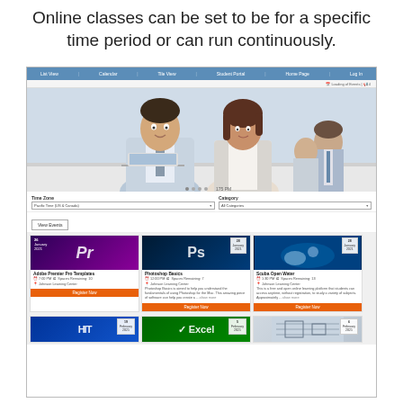Online classes can be set to be for a specific time period or can run continuously.
[Figure (screenshot): Screenshot of an online learning management system showing a navigation bar, hero image of business professionals at a laptop, time zone and category filters, a View Events button, and a grid of course cards including Adobe Premier Pro Templates, Photoshop Basics, Scuba Open Water, HIT course, Excel course, and a blueprint course with Register Now buttons.]